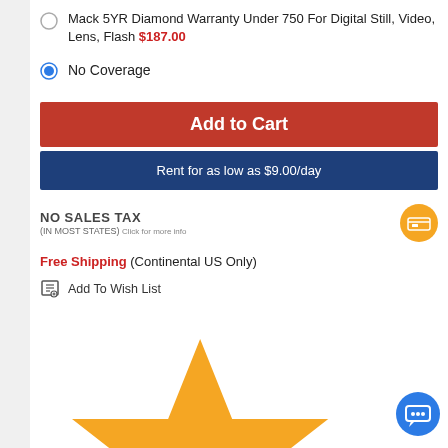Mack 5YR Diamond Warranty Under 750 For Digital Still, Video, Lens, Flash $187.00
No Coverage
Add to Cart
Rent for as low as $9.00/day
NO SALES TAX (IN MOST STATES) Click for more info
Free Shipping (Continental US Only)
Add To Wish List
Add to Price Alert
On Display at Fairfield, NJ Store